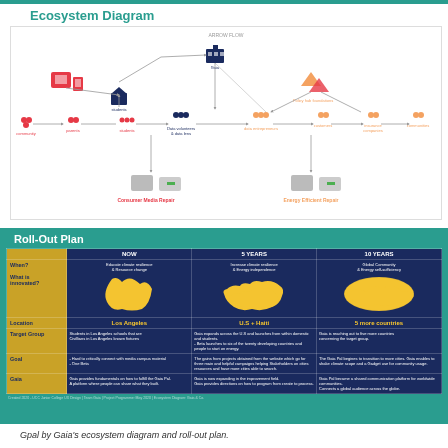Ecosystem Diagram
[Figure (flowchart): Ecosystem diagram showing connections between community members, parents, students, data volunteers, gaia platform, data entrepreneurs, customers, insurance companies, and communities, with two sub-sections: Consumer Media Repair and Energy Efficient Repair]
[Figure (infographic): Roll-Out Plan table showing NOW / 5 YEARS / 10 YEARS columns with rows for When, What is innovated, Location, Target Group, Goal, and Gaia. Locations are Los Angeles, U.S. + Haiti, and 5 more countries.]
Gpal by Gaia's ecosystem diagram and roll-out plan.